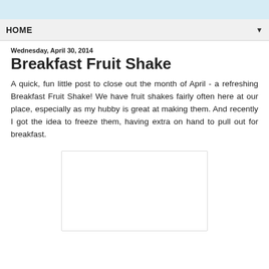HOME
Wednesday, April 30, 2014
Breakfast Fruit Shake
A quick, fun little post to close out the month of April - a refreshing Breakfast Fruit Shake! We have fruit shakes fairly often here at our place, especially as my hubby is great at making them. And recently I got the idea to freeze them, having extra on hand to pull out for breakfast.
[Figure (photo): White placeholder image area for a photo of the Breakfast Fruit Shake]